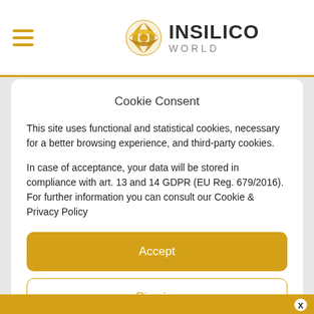[Figure (logo): Insilico World logo with globe icon, hamburger menu icon on the left]
Cookie Consent
This site uses functional and statistical cookies, necessary for a better browsing experience, and third-party cookies.
In case of acceptance, your data will be stored in compliance with art. 13 and 14 GDPR (EU Reg. 679/2016). For further information you can consult our Cookie & Privacy Policy
Accept
Dismiss
Preferences